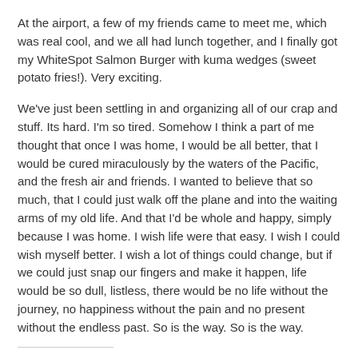At the airport, a few of my friends came to meet me, which was real cool, and we all had lunch together, and I finally got my WhiteSpot Salmon Burger with kuma wedges (sweet potato fries!). Very exciting.
We've just been settling in and organizing all of our crap and stuff. Its hard. I'm so tired. Somehow I think a part of me thought that once I was home, I would be all better, that I would be cured miraculously by the waters of the Pacific, and the fresh air and friends. I wanted to believe that so much, that I could just walk off the plane and into the waiting arms of my old life. And that I'd be whole and happy, simply because I was home. I wish life were that easy. I wish I could wish myself better. I wish a lot of things could change, but if we could just snap our fingers and make it happen, life would be so dull, listless, there would be no life without the journey, no happiness without the pain and no present without the endless past. So is the way. So is the way.
Share this:
[Figure (infographic): Row of social sharing icon buttons: email (grey), Twitter (blue), Pinterest (red), Facebook (dark blue), Tumblr (dark navy), Print (grey)]
[Figure (infographic): Like button with star icon]